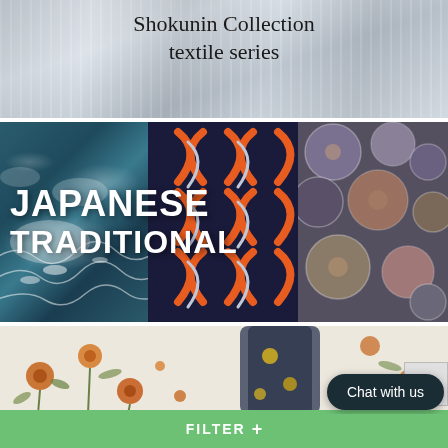[Figure (photo): Close-up photo of white/gray striped textile or curtain fabric with the text 'Shokunin Collection textile series' overlaid on top]
Shokunin Collection textile series
[Figure (photo): Collage of three Japanese traditional fabric/textile patterns: wave pattern on left, orange and navy geometric pattern in center, and circular woven baskets/textiles on right. Large white text reads 'JAPANESE TRADITIONAL' overlaid on the image.]
[Figure (photo): Floral fabric with orange/yellow flowers and green botanical stems on light background, with rolled dark fabric visible. A dark rounded 'Chat with us' button overlay is present.]
Chat with us
FILTER +